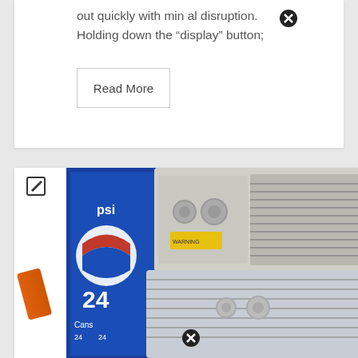out quickly with minimal disruption. Holding down the “display” button;
Read More
[Figure (photo): Photo of two small window air conditioning units stacked together, with a Pepsi 24-pack box visible on the left side, situated on a wooden floor. The units appear used, with cords and knobs visible.]